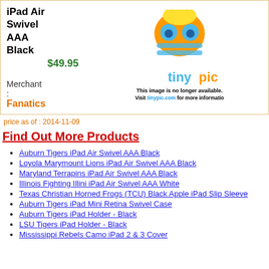iPad Air Swivel AAA Black  $49.95  Merchant: Fanatics
[Figure (illustration): TinyPic placeholder image with cartoon characters and text 'This image is no longer available. Visit tinypic.com for more information']
price as of : 2014-11-09
Find Out More Products
Auburn Tigers iPad Air Swivel AAA Black
Loyola Marymount Lions iPad Air Swivel AAA Black
Maryland Terrapins iPad Air Swivel AAA Black
Illinois Fighting Illini iPad Air Swivel AAA White
Texas Christian Horned Frogs (TCU) Black Apple iPad Slip Sleeve
Auburn Tigers iPad Mini Retina Swivel Case
Auburn Tigers iPad Holder - Black
LSU Tigers iPad Holder - Black
Mississippi Rebels Camo iPad 2 & 3 Cover